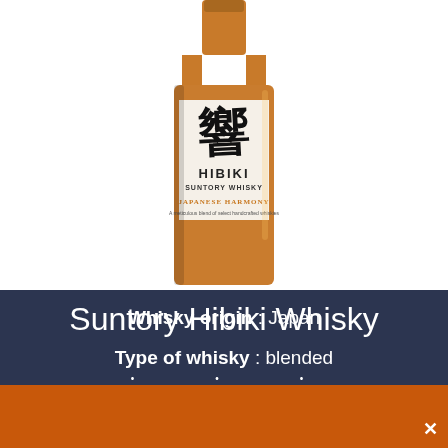[Figure (photo): Hibiki Suntory Whisky Japanese Harmony bottle with Japanese calligraphy on white label, amber glass bottle, shown against white background with dark side borders]
Suntory Hibiki Whisky
• • •
Whisky origin : Japan
Type of whisky : blended